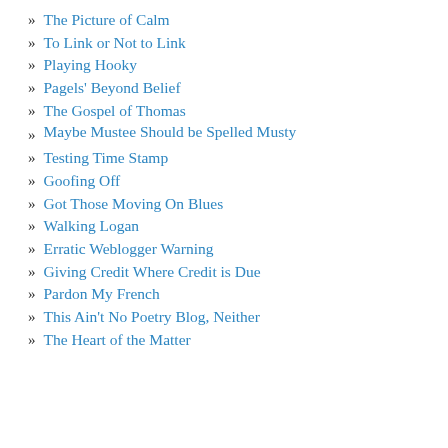The Picture of Calm
To Link or Not to Link
Playing Hooky
Pagels' Beyond Belief
The Gospel of Thomas
Maybe Mustee Should be Spelled Musty
Testing Time Stamp
Goofing Off
Got Those Moving On Blues
Walking Logan
Erratic Weblogger Warning
Giving Credit Where Credit is Due
Pardon My French
This Ain't No Poetry Blog, Neither
The Heart of the Matter